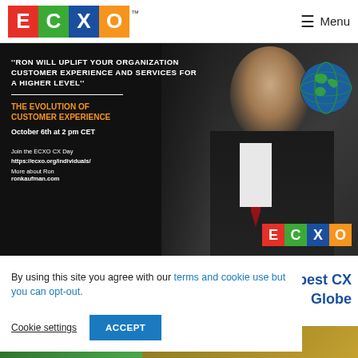ECXO™ — Menu
[Figure (photo): ECXO promotional banner for 'The Evolution of Customer Experience' event on October 6th at 2 pm CET, featuring a man in a suit holding a globe, with quote text and ECXO logo]
By using this site you agree with our terms and cookie use but you can opt-out.
the best CX Globe
Cookie settings   ACCEPT